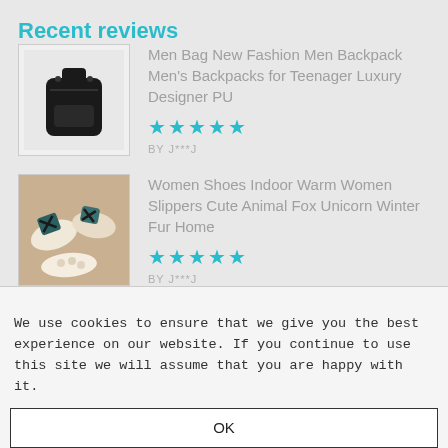Recent reviews
[Figure (photo): Black leather backpack product photo on white background]
Men Bag New Fashion Men Backpack Men's Backpacks for Teenager Luxury Designer PU
★★★★★
BY J***J
[Figure (photo): Women slippers with animal prints arranged on a beige background]
Women Shoes Indoor Warm Women Slippers Cute Animal Fox Unicorn Winter Fur Home
★★★★★
BY J***J
We use cookies to ensure that we give you the best experience on our website. If you continue to use this site we will assume that you are happy with it.
OK